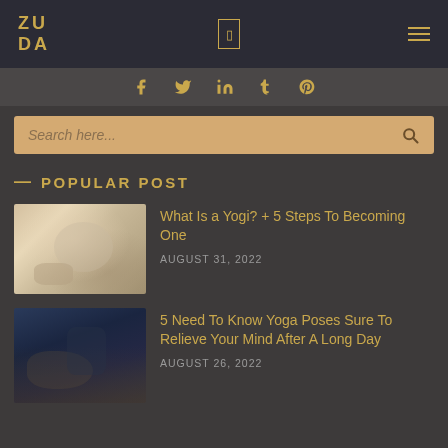ZUDA
Social icons: Facebook, Twitter, LinkedIn, Tumblr, Pinterest
Search here...
POPULAR POST
[Figure (photo): Person seated in yoga meditation pose, close-up of hands resting on knees, soft warm tones]
What Is a Yogi? + 5 Steps To Becoming One
AUGUST 31, 2022
[Figure (photo): Person seated in yoga meditation pose in dark setting, open hand extended, dark blue tones]
5 Need To Know Yoga Poses Sure To Relieve Your Mind After A Long Day
AUGUST 26, 2022